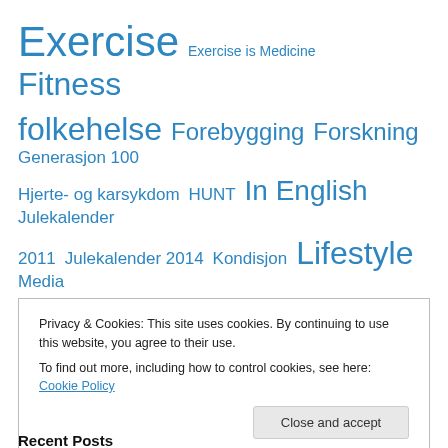[Figure (infographic): Tag cloud with health and fitness related tags in various sizes and blue color, including: Exercise, Exercise is Medicine, Fitness, folkehelse, Forebygging, Forskning, Generasjon 100, Hjerte- og karsykdom, HUNT, In English, Julekalender 2011, Julekalender 2014, Kondisjon, Lifestyle, Media, Motivation, Obesity, Public health, På norsk, Research, Science, Seminars/Conferences, Sprek]
Privacy & Cookies: This site uses cookies. By continuing to use this website, you agree to their use. To find out more, including how to control cookies, see here: Cookie Policy
Recent Posts